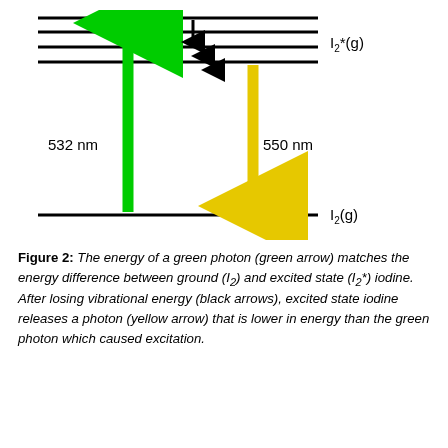[Figure (schematic): Energy level diagram showing excitation of I2(g) to I2*(g) by a 532 nm green photon (green upward arrow), vibrational relaxation within excited state (black downward arrows), and emission of a 550 nm yellow photon (yellow downward arrow) back to ground state. Horizontal black lines represent energy levels.]
Figure 2: The energy of a green photon (green arrow) matches the energy difference between ground (I2) and excited state (I2*) iodine. After losing vibrational energy (black arrows), excited state iodine releases a photon (yellow arrow) that is lower in energy than the green photon which caused excitation.